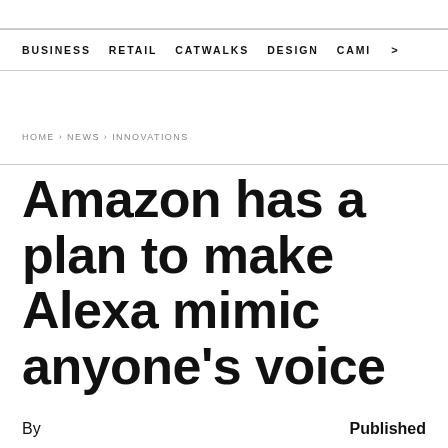BUSINESS   RETAIL   CATWALKS   DESIGN   CAMI >
HOME › NEWS › INNOVATIONS
Amazon has a plan to make Alexa mimic anyone's voice
By   Published